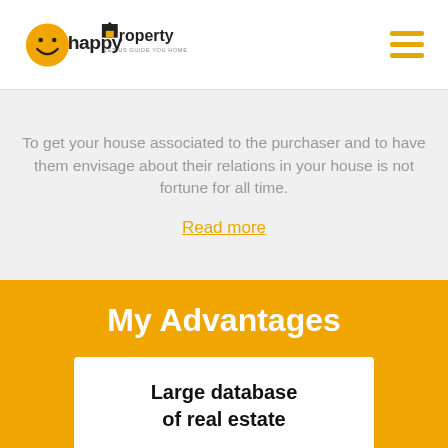happy Property — LET US GUIDE YOU HOME
To get your house associated to the purchaser and to have them envisage about their relations in your house is not fortune for all time.
Read more
My Advantages
Large database of real estate